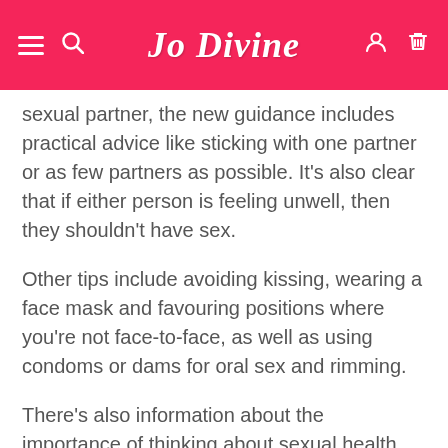Jo Divine
sexual partner, the new guidance includes practical advice like sticking with one partner or as few partners as possible. It’s also clear that if either person is feeling unwell, then they shouldn’t have sex.
Other tips include avoiding kissing, wearing a face mask and favouring positions where you’re not face-to-face, as well as using condoms or dams for oral sex and rimming.
There’s also information about the importance of thinking about sexual health before starting to have sex again. That includes the top recommendations of...